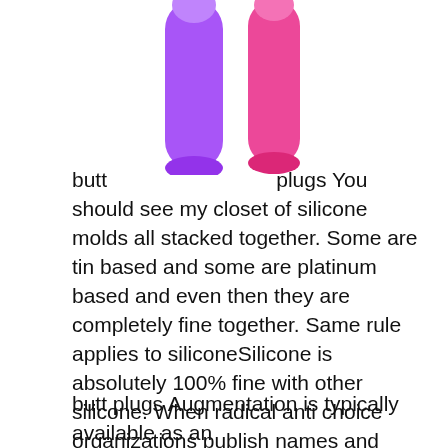[Figure (photo): Two silicone butt plug products, one purple and one pink/magenta, shown partially cropped at top of page]
butt                                    plugs You should see my closet of silicone molds all stacked together. Some are tin based and some are platinum based and even then they are completely fine together. Same rule applies to siliconeSilicone is absolutely 100% fine with other silicone. When radical anti choice organizations publish names and addresses of doctors and they get murdered, it's terrorism and they bear responsibility. When right wing extremists blow up government buildings, it's terrorism. When Tea baggers, funded by ultra right wing conservative Obama haters, post the addresses of congressional family members on line and then their house get's blown up, that's terrorism and needs to be prosecuted..butt plugs
butt plugs Augmentation is typically available as an